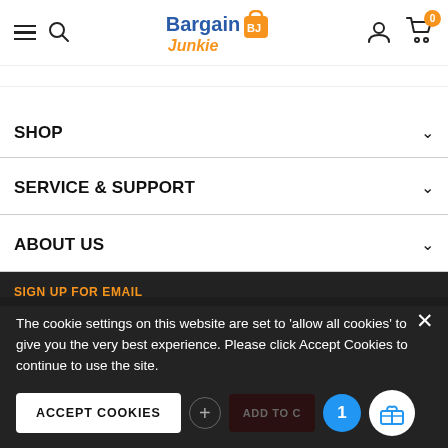BargainJunkie - navigation header with hamburger menu, search, logo, user icon, and cart (0 items)
SHOP ∨
SERVICE & SUPPORT ∨
ABOUT US ∨
SIGN UP FOR EMAIL
The cookie settings on this website are set to 'allow all cookies' to give you the very best experience. Please click Accept Cookies to continue to use the site.
ACCEPT COOKIES